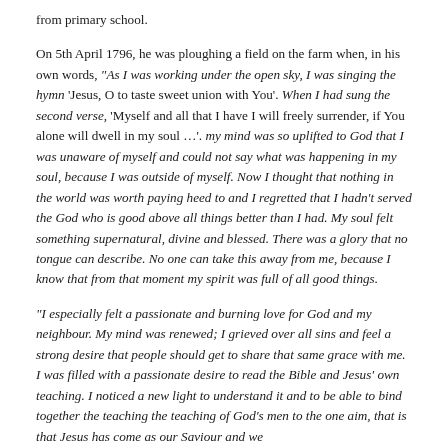from primary school.
On 5th April 1796, he was ploughing a field on the farm when, in his own words, "As I was working under the open sky, I was singing the hymn 'Jesus, O to taste sweet union with You'. When I had sung the second verse, 'Myself and all that I have I will freely surrender, if You alone will dwell in my soul ...'. my mind was so uplifted to God that I was unaware of myself and could not say what was happening in my soul, because I was outside of myself. Now I thought that nothing in the world was worth paying heed to and I regretted that I hadn't served the God who is good above all things better than I had. My soul felt something supernatural, divine and blessed. There was a glory that no tongue can describe. No one can take this away from me, because I know that from that moment my spirit was full of all good things.
"I especially felt a passionate and burning love for God and my neighbour. My mind was renewed; I grieved over all sins and feel a strong desire that people should get to share that same grace with me. I was filled with a passionate desire to read the Bible and Jesus' own teaching. I noticed a new light to understand it and to be able to bind together the teaching the teaching of God's men to the one aim, that is that Jesus has come as our Saviour and we